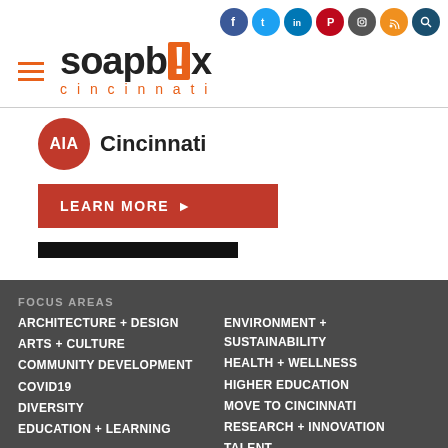soapbox cincinnati — header with social icons and hamburger menu
[Figure (logo): AIA Cincinnati logo with red circle and 'AIA' text in white, followed by 'Cincinnati' in bold]
LEARN MORE ▶
FOCUS AREAS
ARCHITECTURE + DESIGN
ARTS + CULTURE
COMMUNITY DEVELOPMENT
COVID19
DIVERSITY
EDUCATION + LEARNING
ENVIRONMENT + SUSTAINABILITY
HEALTH + WELLNESS
HIGHER EDUCATION
MOVE TO CINCINNATI
RESEARCH + INNOVATION
TALENT